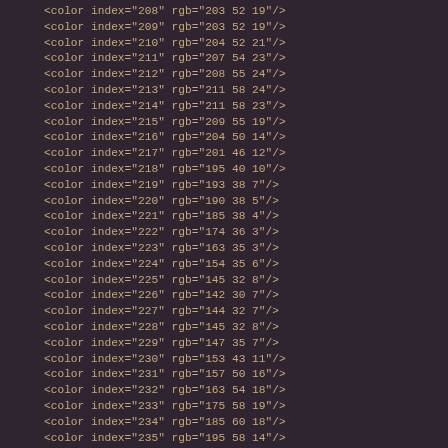<color index="208" rgb="203 52 19"/>
<color index="209" rgb="203 52 19"/>
<color index="210" rgb="204 52 21"/>
<color index="211" rgb="207 54 23"/>
<color index="212" rgb="208 55 24"/>
<color index="213" rgb="211 58 24"/>
<color index="214" rgb="211 58 23"/>
<color index="215" rgb="209 55 19"/>
<color index="216" rgb="204 50 14"/>
<color index="217" rgb="201 46 12"/>
<color index="218" rgb="195 40 10"/>
<color index="219" rgb="193 38 7"/>
<color index="220" rgb="190 38 5"/>
<color index="221" rgb="185 38 4"/>
<color index="222" rgb="174 36 3"/>
<color index="223" rgb="163 35 3"/>
<color index="224" rgb="154 35 6"/>
<color index="225" rgb="145 32 8"/>
<color index="226" rgb="142 30 7"/>
<color index="227" rgb="144 32 7"/>
<color index="228" rgb="145 32 8"/>
<color index="229" rgb="147 35 7"/>
<color index="230" rgb="153 43 11"/>
<color index="231" rgb="157 50 16"/>
<color index="232" rgb="163 54 18"/>
<color index="233" rgb="175 58 19"/>
<color index="234" rgb="185 60 18"/>
<color index="235" rgb="195 58 14"/>
<color index="236" rgb="205 56 11"/>
<color index="237" rgb="210 56 11"/>
<color index="238" rgb="216 60 12"/>
<color index="239" rgb="221 64 13"/>
<color index="240" rgb="222 67 12"/>
<color index="241" rgb="224 69 10"/>
<color index="242" rgb="224 65 7"/>
<color index="243" rgb="217 60 4"/>
<color index="244" rgb="210 56 2"/>
<color index="245" rgb="203 52 1"/>
<color index="246" rgb="194 47 2"/>
<color index="247" rgb="186 44 2"/>
<color index="248" rgb="179 43 2"/>